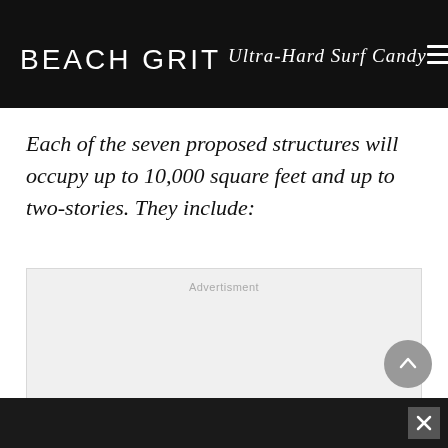BEACH GRIT Ultra-Hard Surf Candy
Each of the seven proposed structures will occupy up to 10,000 square feet and up to two-stories. They include:
[Figure (other): Advertisement placeholder box labeled 'Advertisment' in light gray]
[Figure (other): Back to top scroll button, circular gray button with upward chevron]
Bottom bar with close/X button